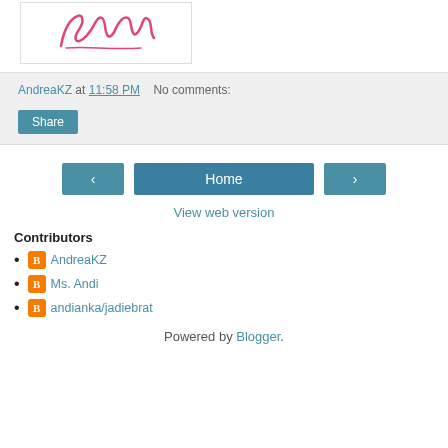[Figure (illustration): Handwritten signature/logo in pink/red cursive on white background, inside a bordered box]
AndreaKZ at 11:58 PM   No comments:
Share
‹   Home   ›
View web version
Contributors
AndreaKZ
Ms. Andi
andianka/jadiebrat
Powered by Blogger.